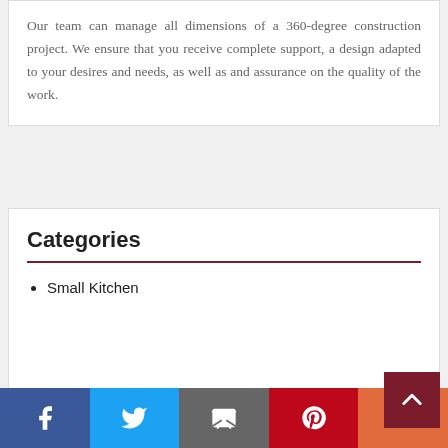Our team can manage all dimensions of a 360-degree construction project. We ensure that you receive complete support, a design adapted to your desires and needs, as well as and assurance on the quality of the work.
Categories
Small Kitchen